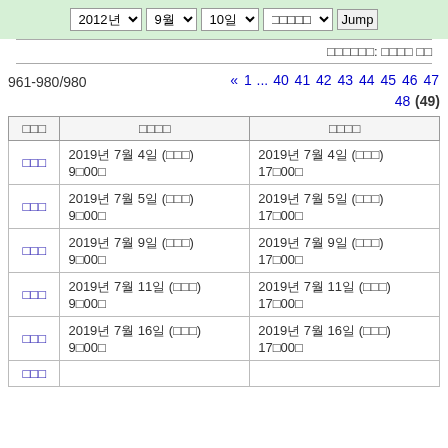2012년 ▾  9월 ▾  10일 ▾  □□□□□ ▾  Jump
□□□□□□: □□□□ □□
961-980/980
« 1 ... 40 41 42 43 44 45 46 47 48 (49)
| □□□ | □□□□ | □□□□ |
| --- | --- | --- |
| □□□ | 2019년 7월 4일 (□□□)
9□00□ | 2019년 7월 4일 (□□□)
17□00□ |
| □□□ | 2019년 7월 5일 (□□□)
9□00□ | 2019년 7월 5일 (□□□)
17□00□ |
| □□□ | 2019년 7월 9일 (□□□)
9□00□ | 2019년 7월 9일 (□□□)
17□00□ |
| □□□ | 2019년 7월 11일 (□□□)
9□00□ | 2019년 7월 11일 (□□□)
17□00□ |
| □□□ | 2019년 7월 16일 (□□□)
9□00□ | 2019년 7월 16일 (□□□)
17□00□ |